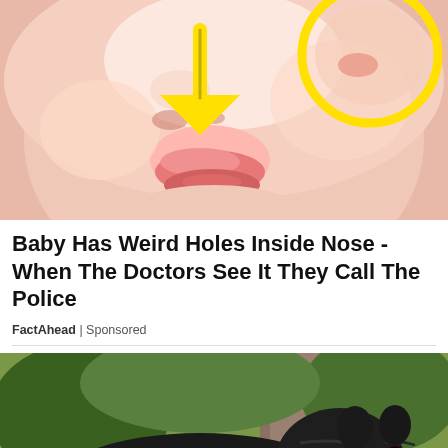[Figure (photo): Close-up of a baby's face showing the nose area, with a yellow arrow pointing to the nostril area and a yellow circle highlighting a spot near the nose/lip. The skin is pink/pale.]
Baby Has Weird Holes Inside Nose - When The Doctors See It They Call The Police
FactAhead | Sponsored
[Figure (photo): A large black Cane Corso dog with distinctive tiger-stripe brindle pattern standing outdoors in a natural setting with trees and rocks, mouth open showing teeth.]